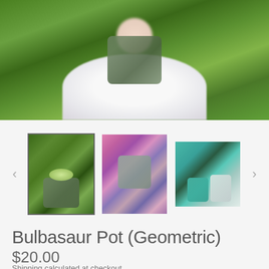[Figure (photo): Main product photo showing a Bulbasaur geometric planter pot being held, with green foliage background. Person wearing white fluffy top holding the pot with plants growing out of it.]
[Figure (photo): Three thumbnail images: 1) Selected thumbnail with border showing Bulbasaur pot with plants held against green leaves background, 2) Colorful pink/purple background thumbnail showing 3D render of Bulbasaur pot, 3) Thumbnail showing teal and white Bulbasaur pots side by side on a table.]
Bulbasaur Pot (Geometric)
$20.00
Shipping calculated at checkout.